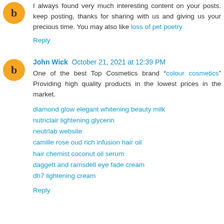I always found very much interesting content on your posts. keep posting, thanks for sharing with us and giving us your precious time. You may also like loss of pet poetry
Reply
John Wick October 21, 2021 at 12:39 PM
One of the best Top Cosmetics brand "colour cosmetics" Providing high quality products in the lowest prices in the market.
diamond glow elegant whitening beauty milk
nutriclair lightening glycerin
neutrlab website
camille rose oud rich infusion hair oil
hair chemist coconut oil serum
daggett and ramsdell eye fade cream
dh7 lightening cream
Reply